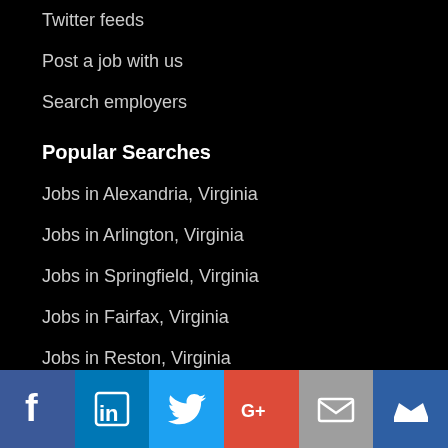Twitter feeds
Post a job with us
Search employers
Popular Searches
Jobs in Alexandria, Virginia
Jobs in Arlington, Virginia
Jobs in Springfield, Virginia
Jobs in Fairfax, Virginia
Jobs in Reston, Virginia
More...
[Figure (infographic): Social media sharing icons bar: Facebook (blue), LinkedIn (blue), Twitter (light blue), Google+ (red), Email (grey), Crown/bookmark (dark blue)]